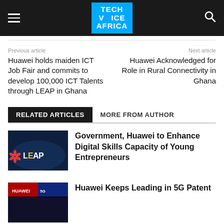Tech Voice Africa
Previous article
Next article
Huawei holds maiden ICT Job Fair and commits to develop 100,000 ICT Talents through LEAP in Ghana
Huawei Acknowledged for Role in Rural Connectivity in Ghana
RELATED ARTICLES	MORE FROM AUTHOR
[Figure (photo): Huawei LEAP program promotional image with logos on dark blue background]
Government, Huawei to Enhance Digital Skills Capacity of Young Entrepreneurs
[Figure (photo): Dark blue/navy background promotional image]
Huawei Keeps Leading in 5G Patent